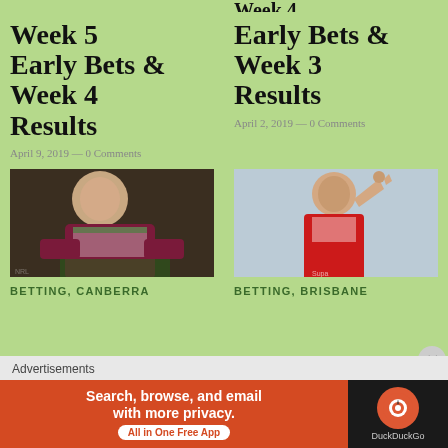Week 5 Early Bets & Week 4 Results
April 9, 2019 — 0 Comments
Week 4 Early Bets & Week 3 Results
April 2, 2019 — 0 Comments
[Figure (photo): Rugby league player in maroon and white jersey tackling]
[Figure (photo): Rugby league player in red and white jersey celebrating with fist raised]
BETTING, CANBERRA
BETTING, BRISBANE
Advertisements
[Figure (other): DuckDuckGo advertisement banner: Search, browse, and email with more privacy. All in One Free App]